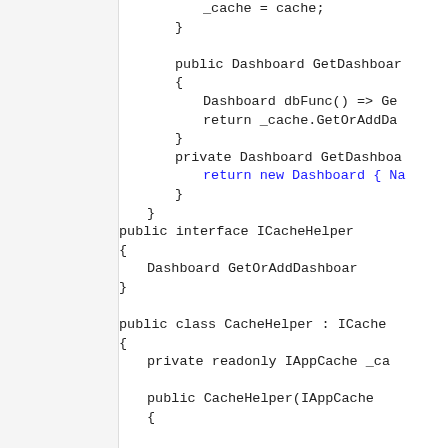Code snippet showing C# class with ICacheHelper interface and CacheHelper class implementation